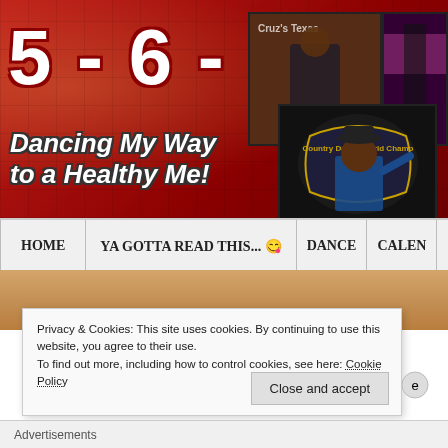[Figure (screenshot): Website header banner with red tiled background, large white bold numbers '5 - 6 - 7 - 8' and italic subtitle 'Dancing My Way to a Healthy Me!', with photos of a country dancer on the right side]
HOME | YA GOTTA READ THIS... 😊 | DANCE | CALEN
Privacy & Cookies: This site uses cookies. By continuing to use this website, you agree to their use.
To find out more, including how to control cookies, see here: Cookie Policy
Close and accept
Advertisements